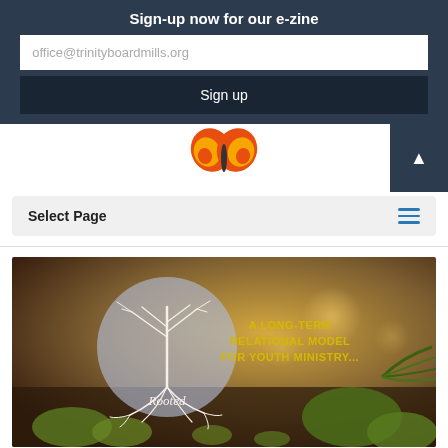Sign-up now for our e-zine
office@trinityboardmills.org
Sign up
[Figure (illustration): Colorful butterfly/flower logo partially visible at center top of page]
Select Page
[Figure (photo): Forest/nature background image with a circular illustration of a tree with roots labeled 'Rooted' on the left, and text overlay on the right reading 'A LONG-TERM RELATIONAL MODEL FOR YOUTH MINISTRY...' in yellow/gold uppercase letters]